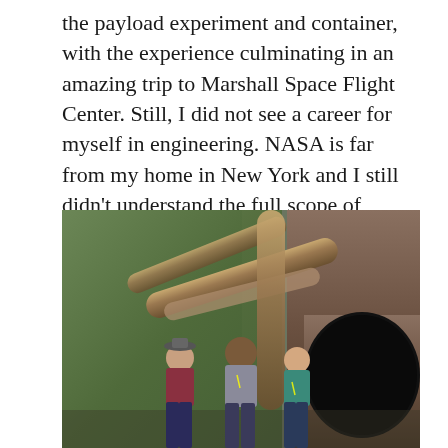the payload experiment and container, with the experience culminating in an amazing trip to Marshall Space Flight Center. Still, I did not see a career for myself in engineering. NASA is far from my home in New York and I still didn't understand the full scope of STEM.
[Figure (photo): Three people standing together in front of large industrial pipes and machinery at Marshall Space Flight Center. The setting shows massive green-painted walls with large pipes overhead and a large cylindrical structure to the right.]